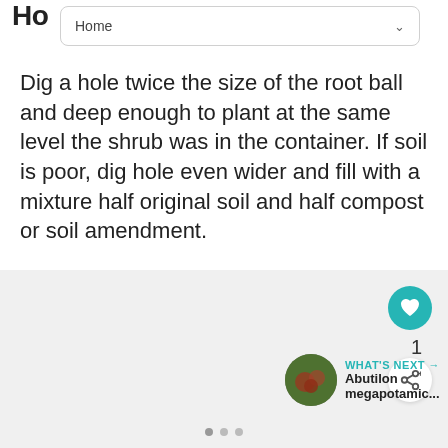Ho Home
Dig a hole twice the size of the root ball and deep enough to plant at the same level the shrub was in the container. If soil is poor, dig hole even wider and fill with a mixture half original soil and half compost or soil amendment.
[Figure (screenshot): Gray content area with heart/like button (teal circle with heart icon), count of 1, share button, a 'WHAT'S NEXT' card showing an image thumbnail and text 'Abutilon megapotamic...' with a teal arrow label, and pagination dots at bottom.]